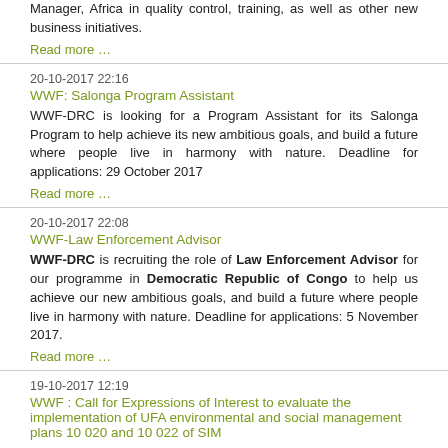Manager, Africa in quality control, training, as well as other new business initiatives.
Read more …
20-10-2017 22:16
WWF: Salonga Program Assistant
WWF-DRC is looking for a Program Assistant for its Salonga Program to help achieve its new ambitious goals, and build a future where people live in harmony with nature. Deadline for applications: 29 October 2017
Read more …
20-10-2017 22:08
WWF-Law Enforcement Advisor
WWF-DRC is recruiting the role of Law Enforcement Advisor for our programme in Democratic Republic of Congo to help us achieve our new ambitious goals, and build a future where people live in harmony with nature. Deadline for applications: 5 November 2017.
Read more …
19-10-2017 12:19
WWF : Call for Expressions of Interest to evaluate the implementation of UFA environmental and social management plans 10 020 and 10 022 of SIM
The overall objective is to assess the level of implementation of environmental and social impact mitigation measures set out in the PGES of UFAs 10 020 and 10 022. Expressions of interest should be submitted by e-mail no later than 25 October 2017 at 1p.m. with the following message subject: <Eval SIM PGES>
Read more …
18-10-2017 22:51
TI: Assessment of the Central African Forest Initiative (CAFI) and DRC's